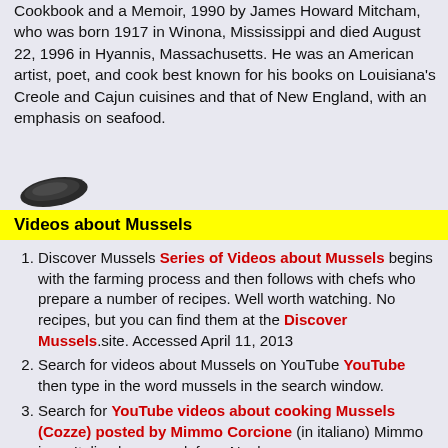Cookbook and a Memoir, 1990 by James Howard Mitcham, who was born 1917 in Winona, Mississippi and died August 22, 1996 in Hyannis, Massachusetts. He was an American artist, poet, and cook best known for his books on Louisiana's Creole and Cajun cuisines and that of New England, with an emphasis on seafood.
[Figure (photo): A small dark mussel shell viewed from above]
Videos about Mussels
Discover Mussels Series of Videos about Mussels begins with the farming process and then follows with chefs who prepare a number of recipes. Well worth watching. No recipes, but you can find them at the Discover Mussels.site. Accessed April 11, 2013
Search for videos about Mussels on YouTube YouTube then type in the word mussels in the search window.
Search for YouTube videos about cooking Mussels (Cozze) posted by Mimmo Corcione (in italiano) Mimmo is an Italian home cook from Naples.